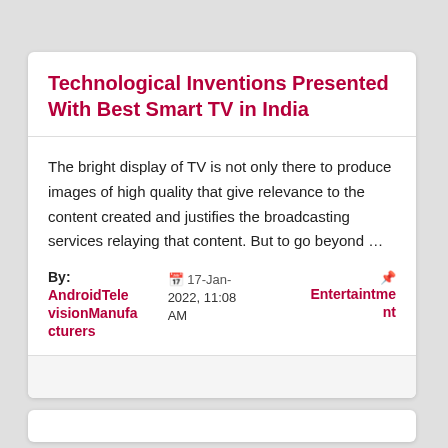Technological Inventions Presented With Best Smart TV in India
The bright display of TV is not only there to produce images of high quality that give relevance to the content created and justifies the broadcasting services relaying that content. But to go beyond …
By: AndroidTelevisionManufacturers   📅 17-Jan-2022, 11:08 AM   🏷 Entertainment